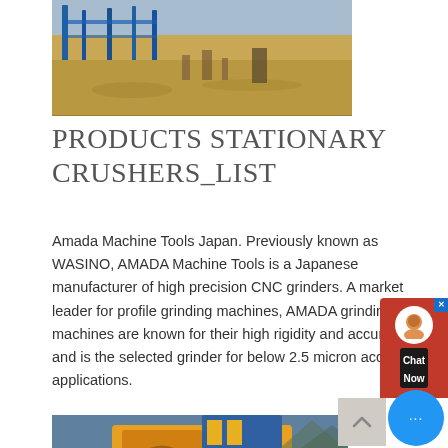[Figure (photo): Construction site with workers and equipment at a sandy/dusty outdoor location with blue metal framework structures]
PRODUCTS STATIONARY CRUSHERS_LIST
Amada Machine Tools Japan. Previously known as WASINO, AMADA Machine Tools is a Japanese manufacturer of high precision CNC grinders. A market leader for profile grinding machines, AMADA grinding machines are known for their high rigidity and accuracy and is the selected grinder for below 2.5 micron accuracy applications.
get price
[Figure (photo): Large yellow industrial crusher/mining equipment on wheels with conveyor belt mechanisms and blue background sky]